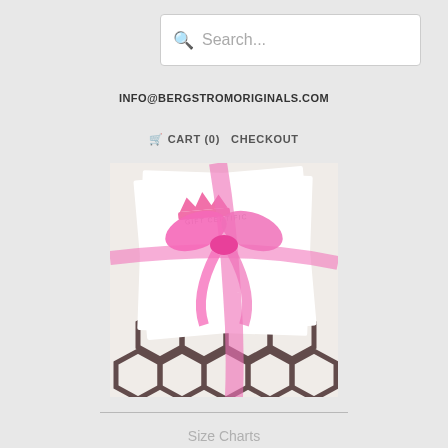Search...
INFO@BERGSTROMORIGINALS.COM
🛒 CART (0)   CHECKOUT
[Figure (photo): Gift certificate with pink ribbon bow on a geometric patterned background]
Size Charts
Testimonials
Ordering Info.
Shipping
Returns